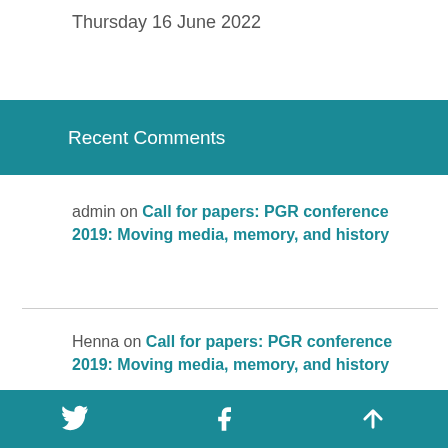Thursday 16 June 2022
Recent Comments
admin on Call for papers: PGR conference 2019: Moving media, memory, and history
Henna on Call for papers: PGR conference 2019: Moving media, memory, and history
Twitter | Facebook | Back to top